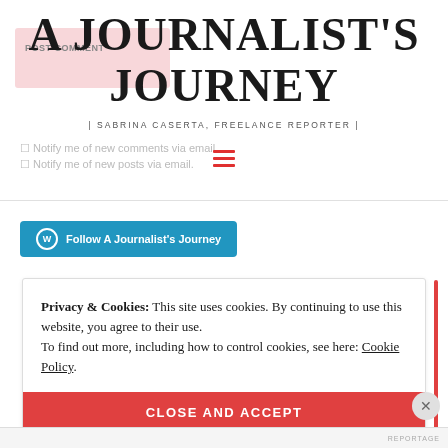A JOURNALIST'S JOURNEY
| SABRINA CASERTA, FREELANCE REPORTER |
Notify me of new comments via email.
Notify me of new posts via email.
[Figure (illustration): WordPress Follow button: Follow A Journalist's Journey]
Privacy & Cookies: This site uses cookies. By continuing to use this website, you agree to their use.
To find out more, including how to control cookies, see here: Cookie Policy
CLOSE AND ACCEPT